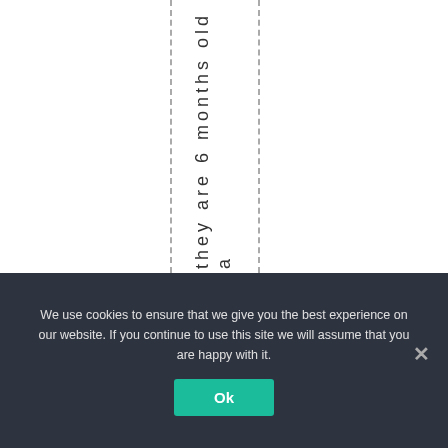they are 6 months old a
We use cookies to ensure that we give you the best experience on our website. If you continue to use this site we will assume that you are happy with it.